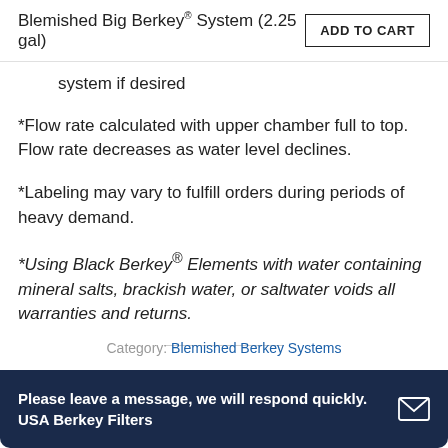Blemished Big Berkey® System (2.25 gal)  ADD TO CART
system if desired
*Flow rate calculated with upper chamber full to top. Flow rate decreases as water level declines.
*Labeling may vary to fulfill orders during periods of heavy demand.
*Using Black Berkey® Elements with water containing mineral salts, brackish water, or saltwater voids all warranties and returns.
Category: Blemished Berkey Systems
Please leave a message, we will respond quickly. USA Berkey Filters